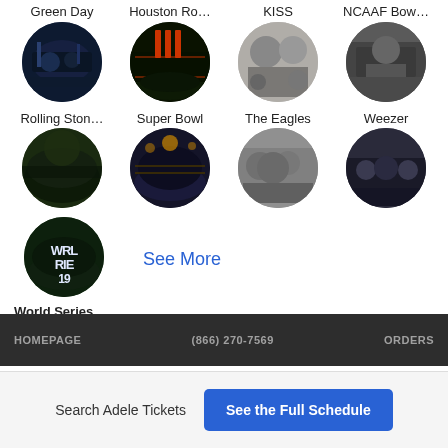Green Day
Houston Ro...
KISS
NCAAF Bow...
[Figure (photo): Green Day band performing on stage, blue lighting]
[Figure (photo): Houston Rockets arena interior with red lighting]
[Figure (photo): KISS band black and white photo]
[Figure (photo): NCAAF Bowl game scene]
Rolling Ston...
Super Bowl
The Eagles
Weezer
[Figure (photo): Rolling Stones concert aerial view]
[Figure (photo): Super Bowl stadium with fireworks]
[Figure (photo): The Eagles band photo]
[Figure (photo): Weezer performing on stage]
[Figure (photo): World Series baseball field with text overlay]
See More
World Series
HOMEPAGE   (866) 270-7569   ORDERS
Search Adele Tickets
See the Full Schedule